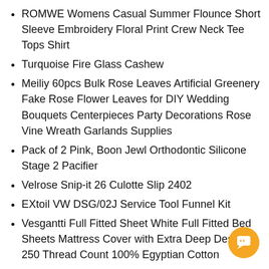ROMWE Womens Casual Summer Flounce Short Sleeve Embroidery Floral Print Crew Neck Tee Tops Shirt
Turquoise Fire Glass Cashew
Meiliy 60pcs Bulk Rose Leaves Artificial Greenery Fake Rose Flower Leaves for DIY Wedding Bouquets Centerpieces Party Decorations Rose Vine Wreath Garlands Supplies
Pack of 2 Pink, Boon Jewl Orthodontic Silicone Stage 2 Pacifier
Velrose Snip-it 26 Culotte Slip 2402
EXtoil VW DSG/02J Service Tool Funnel Kit
Vesgantti Full Fitted Sheet White Full Fitted Bed Sheets Mattress Cover with Extra Deep Design 250 Thread Count 100% Egyptian Cotton
30 Pocket Storage Pocket Chart Hanging Wall File Organizer w/Label Window Classroom Black w/Window